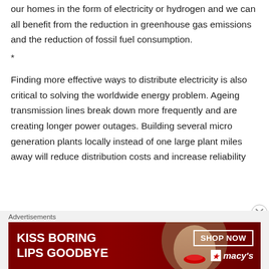our homes in the form of electricity or hydrogen and we can all benefit from the reduction in greenhouse gas emissions and the reduction of fossil fuel consumption.
*
Finding more effective ways to distribute electricity is also critical to solving the worldwide energy problem. Ageing transmission lines break down more frequently and are creating longer power outages. Building several micro generation plants locally instead of one large plant miles away will reduce distribution costs and increase reliability
Advertisements
[Figure (photo): Macy's advertisement banner reading 'KISS BORING LIPS GOODBYE' with a woman's face and red lips, SHOP NOW button, and Macy's logo with star]